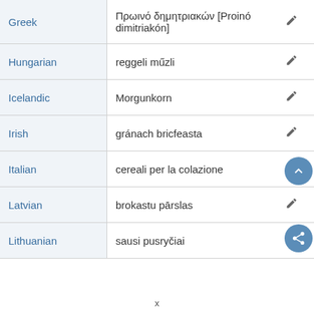| Language | Translation |  |
| --- | --- | --- |
| Greek | Πρωινό δημητριακών [Proinó dimitriakón] | ✏ |
| Hungarian | reggeli műzli | ✏ |
| Icelandic | Morgunkorn | ✏ |
| Irish | gránach bricfeasta | ✏ |
| Italian | cereali per la colazione | ✏ |
| Latvian | brokastu pārslas | ✏ |
| Lithuanian | sausi pusryčiai | ✏ |
x